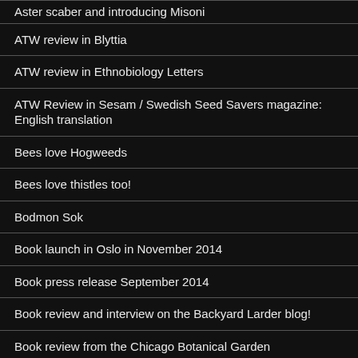Aster scaber and introducing Misoni
ATW review in Blyttia
ATW review in Ethnobiology Letters
ATW Review in Sesam / Swedish Seed Savers magazine: English translation
Bees love Hogweeds
Bees love thistles too!
Bodmon Sok
Book launch in Oslo in November 2014
Book press release September 2014
Book review and interview on the Backyard Larder blog!
Book review from the Chicago Botanical Garden
Book review in Orebladet
Book review...